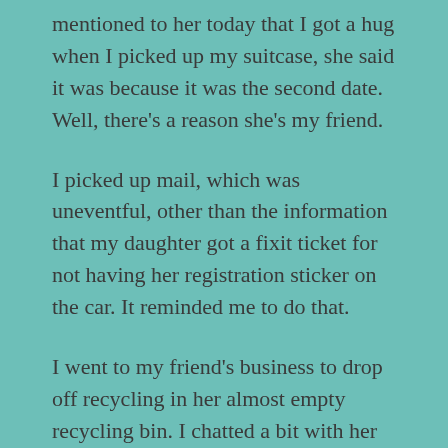mentioned to her today that I got a hug when I picked up my suitcase, she said it was because it was the second date. Well, there's a reason she's my friend.
I picked up mail, which was uneventful, other than the information that my daughter got a fixit ticket for not having her registration sticker on the car. It reminded me to do that.
I went to my friend's business to drop off recycling in her almost empty recycling bin. I chatted a bit with her after making the mail carrier nervous when I parked across the driveway.
I went home to grab library books to return. I transferred stuff from my purse into my library bag. I